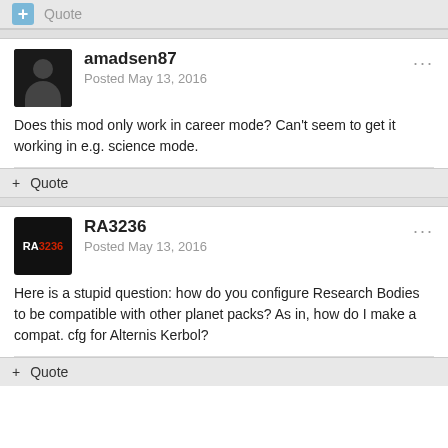Quote
amadsen87
Posted May 13, 2016
Does this mod only work in career mode? Can't seem to get it working in e.g. science mode.
Quote
RA3236
Posted May 13, 2016
Here is a stupid question: how do you configure Research Bodies to be compatible with other planet packs? As in, how do I make a compat. cfg for Alternis Kerbol?
Quote